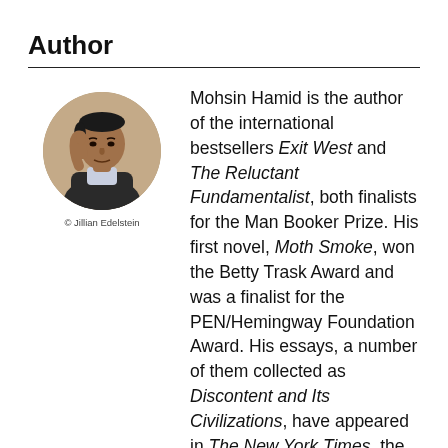Author
[Figure (photo): Circular portrait photo of Mohsin Hamid, credited to Jillian Edelstein]
© Jillian Edelstein
Mohsin Hamid is the author of the international bestsellers Exit West and The Reluctant Fundamentalist, both finalists for the Man Booker Prize. His first novel, Moth Smoke, won the Betty Trask Award and was a finalist for the PEN/Hemingway Foundation Award. His essays, a number of them collected as Discontent and Its Civilizations, have appeared in The New York Times, the Washington Post,